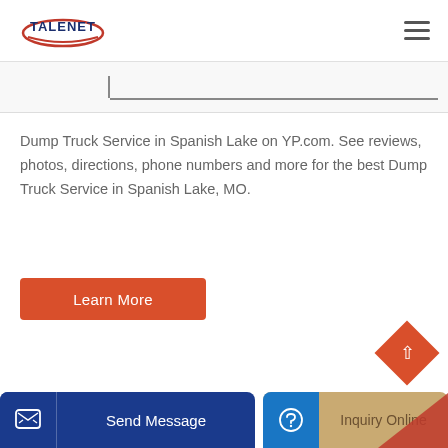TALENET
Dump Truck Service in Spanish Lake on YP.com. See reviews, photos, directions, phone numbers and more for the best Dump Truck Service in Spanish Lake, MO.
Learn More
Send Message
Inquiry Online